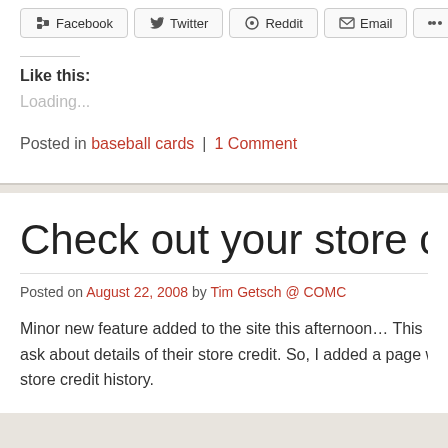[Figure (other): Social share buttons: Facebook, Twitter, Reddit, Email, More]
Like this:
Loading...
Posted in baseball cards | 1 Comment
Check out your store cred…
Posted on August 22, 2008 by Tim Getsch @ COMC
Minor new feature added to the site this afternoon… This la… ask about details of their store credit. So, I added a page w… store credit history.